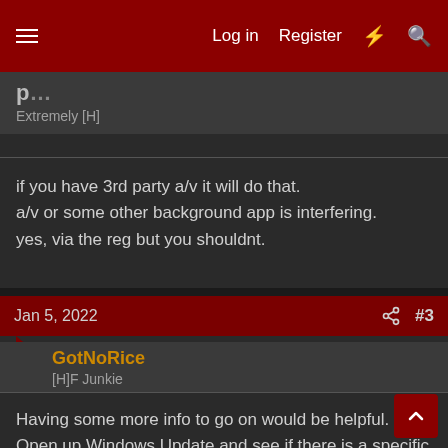Log in  Register  #  (search)
Extremely [H]
if you have 3rd party a/v it will do that.
a/v or some other background app is interfering.
yes, via the reg but you shouldnt.
Jan 5, 2022  #3
GotNoRice
[H]F Junkie
Having some more info to go on would be helpful. Open up Windows Update and see if there is a specific update that it is trying to install. It might include an error code. It would also be helpful to know what OS build you are on.
If you have never done a fresh OS install since you got the laptop, you might be dealing with a bad combo of some old